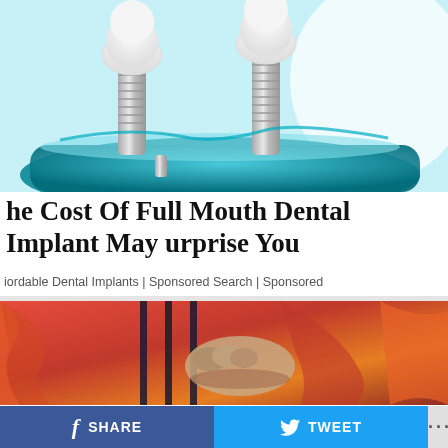[Figure (photo): Dental implant model with two titanium screw implants and white crown teeth set in a teal/blue gel base, on a white background]
he Cost Of Full Mouth Dental Implant May urprise You
iordable Dental Implants | Sponsored Search | Sponsored
[Figure (photo): Person in orange prison jumpsuit gripping metal bars with elderly hands]
SHARE   TWEET   ...